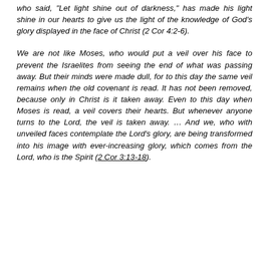who said, "Let light shine out of darkness," has made his light shine in our hearts to give us the light of the knowledge of God's glory displayed in the face of Christ (2 Cor 4:2-6).
We are not like Moses, who would put a veil over his face to prevent the Israelites from seeing the end of what was passing away. But their minds were made dull, for to this day the same veil remains when the old covenant is read. It has not been removed, because only in Christ is it taken away. Even to this day when Moses is read, a veil covers their hearts. But whenever anyone turns to the Lord, the veil is taken away. … And we, who with unveiled faces contemplate the Lord's glory, are being transformed into his image with ever-increasing glory, which comes from the Lord, who is the Spirit (2 Cor 3:13-18).